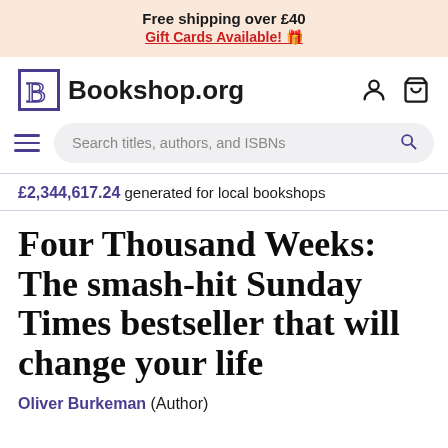Free shipping over £40 | Gift Cards Available! 🎁
[Figure (logo): Bookshop.org logo with stylized B and navigation icons (user account and shopping bag)]
Search titles, authors, and ISBNs
£2,344,617.24 generated for local bookshops
Four Thousand Weeks: The smash-hit Sunday Times bestseller that will change your life
Oliver Burkeman (Author)